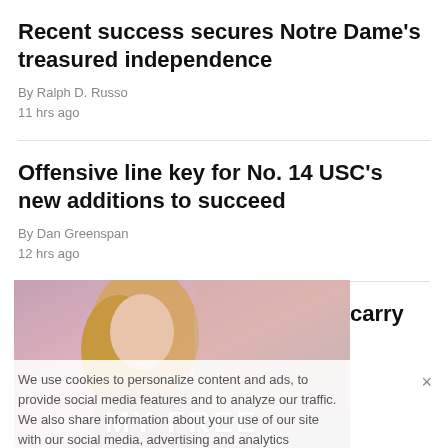Recent success secures Notre Dame's treasured independence
By Ralph D. Russo
11 hrs ago
Offensive line key for No. 14 USC's new additions to succeed
By Dan Greenspan
12 hrs ago
Oregon's Sewell, Utah's Barton carry on family legacies
By Anne M. Peterson
13 hrs ago
[Figure (photo): Advertisement banner showing a woman with blonde hair, text 'MY FREE' visible at bottom]
We use cookies to personalize content and ads, to provide social media features and to analyze our traffic. We also share information about your use of our site with our social media, advertising and analytics partners. Privacy Policy
Cookies Settings   Accept All Cookies